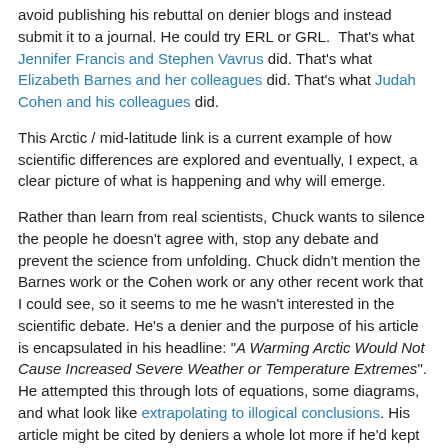avoid publishing his rebuttal on denier blogs and instead submit it to a journal. He could try ERL or GRL. That's what Jennifer Francis and Stephen Vavrus did. That's what Elizabeth Barnes and her colleagues did. That's what Judah Cohen and his colleagues did.
This Arctic / mid-latitude link is a current example of how scientific differences are explored and eventually, I expect, a clear picture of what is happening and why will emerge.
Rather than learn from real scientists, Chuck wants to silence the people he doesn't agree with, stop any debate and prevent the science from unfolding. Chuck didn't mention the Barnes work or the Cohen work or any other recent work that I could see, so it seems to me he wasn't interested in the scientific debate. He's a denier and the purpose of his article is encapsulated in his headline: "A Warming Arctic Would Not Cause Increased Severe Weather or Temperature Extremes". He attempted this through lots of equations, some diagrams, and what look like extrapolating to illogical conclusions. His article might be cited by deniers a whole lot more if he'd kept it simple, in keeping with